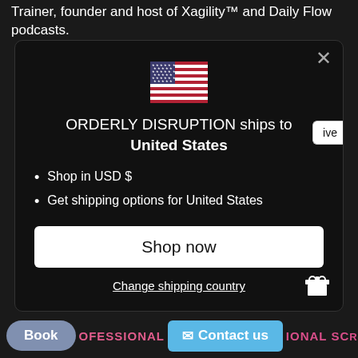Trainer, founder and host of Xagility™ and Daily Flow podcasts.
[Figure (screenshot): A modal dialog on a dark background showing a US flag, the text 'ORDERLY DISRUPTION ships to United States', bullet points 'Shop in USD $' and 'Get shipping options for United States', a 'Shop now' button, and a 'Change shipping country' link.]
Shop in USD $
Get shipping options for United States